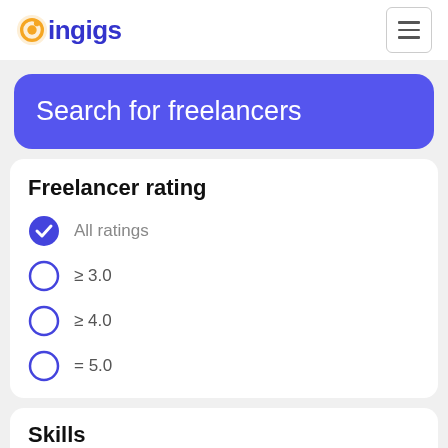coingigs
Search for freelancers
Freelancer rating
All ratings
≥ 3.0
≥ 4.0
= 5.0
Skills
Short Video Ads